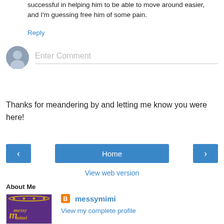successful in helping him to be able to move around easier, and I'm guessing free him of some pain.
Reply
[Figure (other): Enter Comment input field with user avatar placeholder]
Thanks for meandering by and letting me know you were here!
[Figure (other): Navigation buttons: left arrow, Home, right arrow]
View web version
About Me
[Figure (photo): Profile photo showing Messy Mimi blog logo - purple background with gold text]
messymimi
View my complete profile